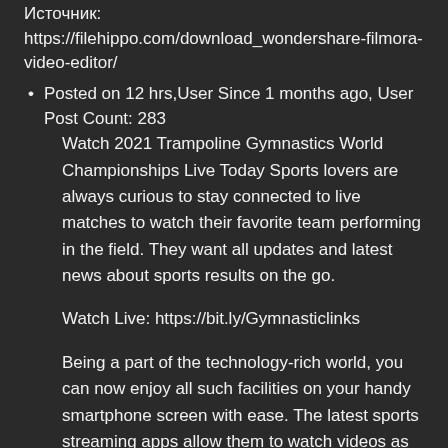Источник: https://filehippo.com/download_wondershare-filmora-video-editor/
Posted on 12 hrs,User Since 1 months ago, User Post Count: 283
Watch 2021 Trampoline Gymnastics World Championships Live Today Sports lovers are always curious to stay connected to live matches to watch their favorite team performing in the field. They want all updates and latest news about sports results on the go.
Watch Live: https://bit.ly/Gymnasticlinks
Being a part of the technology-rich world, you can now enjoy all such facilities on your handy smartphone screen with ease. The latest sports streaming apps allow them to watch videos as well from any corner of